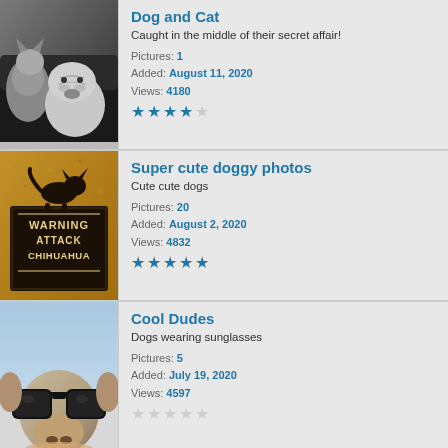[Figure (photo): Black and white photo of a bulldog and cat together on a dark surface]
Dog and Cat
Caught in the middle of their secret affair!
Pictures: 1
Added: August 11, 2020
Views: 4180
[Figure (photo): Warning Attack Chihuahua sign with silhouette of chihuahua on sandy/cork background]
Super cute doggy photos
Cute cute dogs
Pictures: 20
Added: August 2, 2020
Views: 4832
[Figure (photo): Close-up of a dog wearing large black sunglasses held by a person]
Cool Dudes
Dogs wearing sunglasses
Pictures: 5
Added: July 19, 2020
Views: 4597